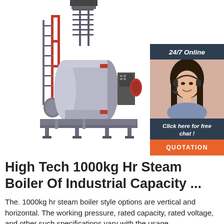[Figure (photo): Industrial steam boiler system with grey horizontal tank, red pipes, scaffolding tower, and control panel on white background]
[Figure (photo): Chat widget advertisement with '24/7 Online' header, photo of woman with headset, 'Click here for free chat!' text, and orange QUOTATION button on dark navy background]
High Tech 1000kg Hr Steam Boiler Of Industrial Capacity ...
The. 1000kg hr steam boiler style options are vertical and horizontal. The working pressure, rated capacity, rated voltage, and other such specifications vary with the usage